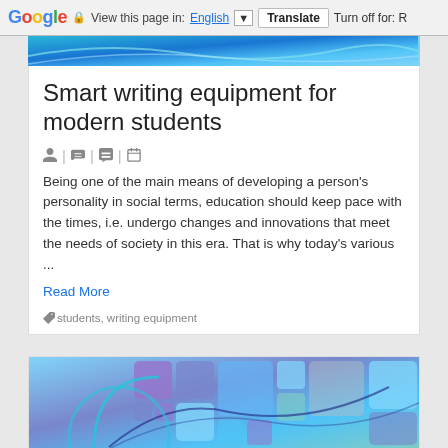Google | View this page in: English [▼] | Translate | Turn off for: R
[Figure (illustration): Blue abstract geometric/wave header image strip at top of article card]
Smart writing equipment for modern students
🧑 | 🏷 | 💬 | 📅
Being one of the main means of developing a person's personality in social terms, education should keep pace with the times, i.e. undergo changes and innovations that meet the needs of society in this era. That is why today's various ...
Read More
🏷students, writing equipment
[Figure (illustration): Blue and purple abstract geometric squares/blocks pattern image at the bottom of the page, partially visible]